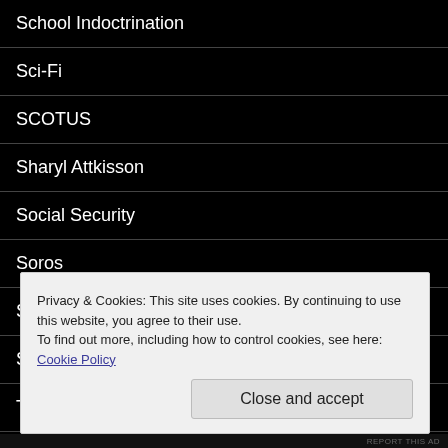School Indoctrination
Sci-Fi
SCOTUS
Sharyl Attkisson
Social Security
Soros
Stuck on Stupid
Sweden
Tammy Bruce
Privacy & Cookies: This site uses cookies. By continuing to use this website, you agree to their use.
To find out more, including how to control cookies, see here: Cookie Policy
Close and accept
REPORT THIS AD